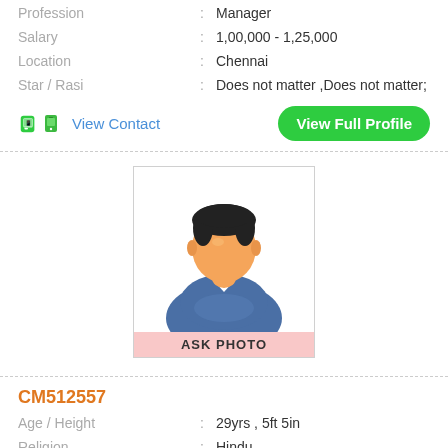Profession : Manager
Salary : 1,00,000 - 1,25,000
Location : Chennai
Star / Rasi : Does not matter ,Does not matter;
View Contact
View Full Profile
[Figure (illustration): Generic male avatar/silhouette with dark hair, peach face, blue shirt, white collar, on white background. Below the image is a pink label reading 'ASK PHOTO'.]
CM512557
Age / Height : 29yrs , 5ft 5in
Religion : Hindu
Caste / Subcaste : Gounder, Kongu Vellala